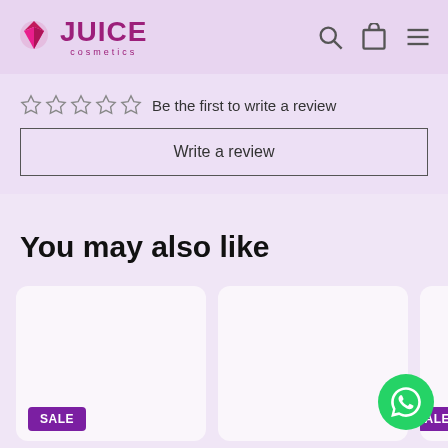[Figure (logo): Juice Cosmetics logo — pink gemstone icon with 'JUICE' bold text and 'cosmetics' subtitle in purple/magenta]
☆ ☆ ☆ ☆ ☆  Be the first to write a review
Write a review
You may also like
[Figure (photo): Product card 1 — blank white/cream product image with SALE badge]
[Figure (photo): Product card 2 — blank white/cream product image, no badge visible]
[Figure (photo): Product card 3 (partially visible) — with SALE badge]
[Figure (other): WhatsApp floating button — green circle with WhatsApp phone icon]